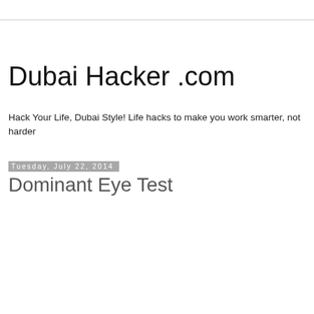Dubai Hacker .com
Hack Your Life, Dubai Style! Life hacks to make you work smarter, not harder
Tuesday, July 22, 2014
Dominant Eye Test